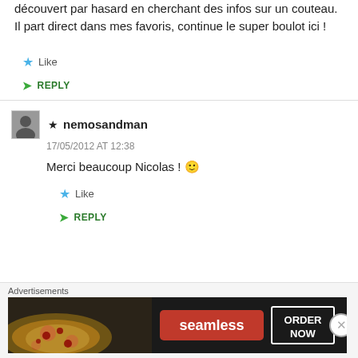découvert par hasard en cherchant des infos sur un couteau. Il part direct dans mes favoris, continue le super boulot ici !
★ Like
➤ REPLY
★ nemosandman
17/05/2012 AT 12:38
Merci beaucoup Nicolas ! 🙂
★ Like
➤ REPLY
[Figure (infographic): Seamless pizza advertisement banner with red Seamless logo and 'ORDER NOW' button on dark background]
Advertisements